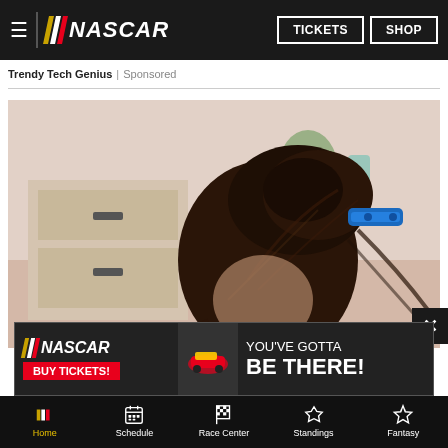NASCAR | TICKETS | SHOP
Trendy Tech Genius | Sponsored
[Figure (photo): Back view of a woman with dark hair styled in an updo held by a blue hair clip, in a bathroom setting]
[Figure (infographic): NASCAR advertisement banner: NASCAR logo, BUY TICKETS! button, YOU'VE GOTTA BE THERE!]
Home | Schedule | Race Center | Standings | Fantasy